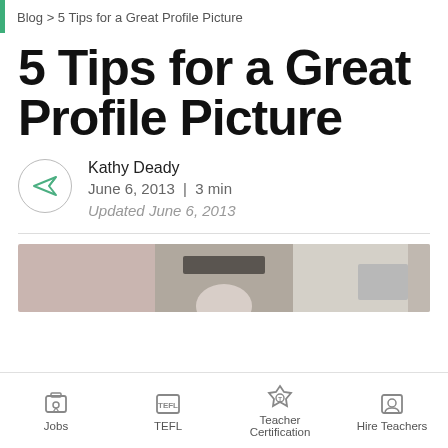Blog > 5 Tips for a Great Profile Picture
5 Tips for a Great Profile Picture
Kathy Deady
June 6, 2013  |  3 min
Updated June 6, 2013
[Figure (photo): Cropped photo showing people working at desks with monitors in background]
Jobs  TEFL  Teacher Certification  Hire Teachers